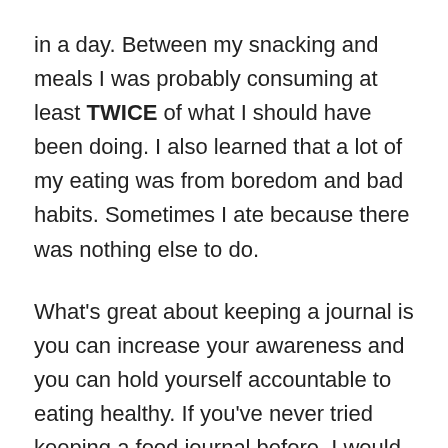in a day. Between my snacking and meals I was probably consuming at least TWICE of what I should have been doing. I also learned that a lot of my eating was from boredom and bad habits. Sometimes I ate because there was nothing else to do.
What's great about keeping a journal is you can increase your awareness and you can hold yourself accountable to eating healthy. If you've never tried keeping a food journal before, I would highly recommend it.